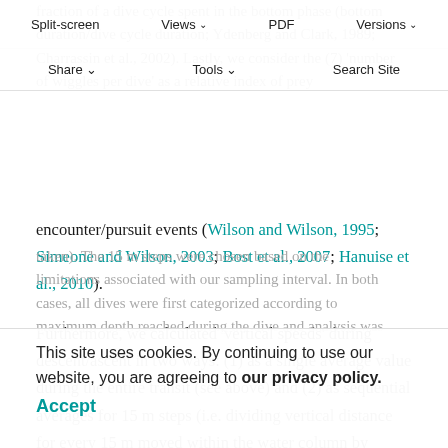Split-screen | Views | PDF | Versions | Share | Tools | Search Site
fraction of a dive cycle spent in the bottom phase (bottom duration/dive cycle duration; Ydenberg and Clark, 1989; Charrassin et al., 2002). Lastly, we consider the (7) 'number of wiggles per dive' as a relative index of prey encounter/pursuit events (Wilson and Wilson, 1995; Simeone and Wilson, 2003; Bost et al., 2007; Hanuise et al., 2010).
Furthermore, we calculated 'vertical speeds' during descent/ascent in two ways: (1) as a single average value during the entire transit (see above) and (2) as sequential averages for 15 m steps (i.e. dividing vertical distance for every 15 m moved within the water column by duration taken). The 15 m steps were chosen based on the limitations associated with our sampling interval. In both cases, all dives were first categorized according to maximum depth reached during the dive and analysis was
This site uses cookies. By continuing to use our website, you are agreeing to our privacy policy.
Accept